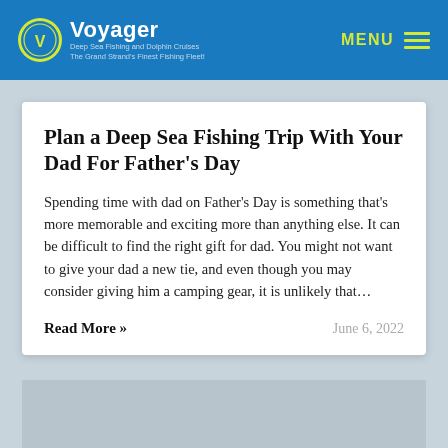Voyager Deep Sea Fishing and Dolphin Cruises — The Grand Strand's Finest Fishing Fleet!
Plan a Deep Sea Fishing Trip With Your Dad For Father's Day
Spending time with dad on Father's Day is something that's more memorable and exciting more than anything else. It can be difficult to find the right gift for dad. You might not want to give your dad a new tie, and even though you may consider giving him a camping gear, it is unlikely that…
Read More »
June 6, 2022
[Figure (photo): Gray placeholder image area at the bottom of the page]